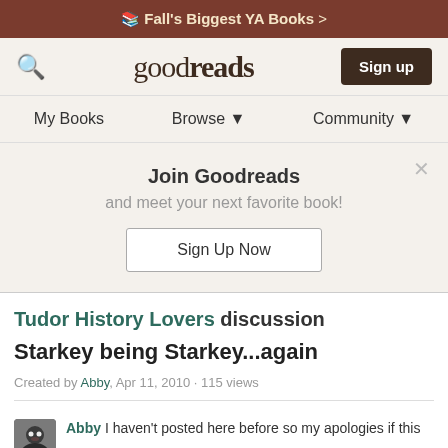Fall's Biggest YA Books >
[Figure (screenshot): Goodreads navigation bar with search icon, logo, and Sign up button]
My Books   Browse ▼   Community ▼
Join Goodreads and meet your next favorite book! Sign Up Now
Tudor History Lovers discussion
Starkey being Starkey...again
Created by Abby, Apr 11, 2010 · 115 views
Abby I haven't posted here before so my apologies if this